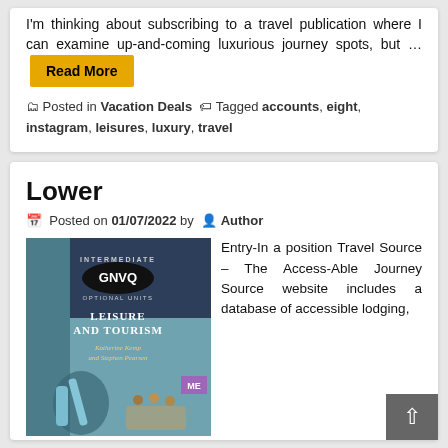I'm thinking about subscribing to a travel publication where I can examine up-and-coming luxurious journey spots, but … Read More
🗂 Posted in Vacation Deals 🏷 Tagged accounts, eight, instagram, leisures, luxury, travel
Lower
📅 Posted on 01/07/2022 by 👤 Author
[Figure (photo): Book cover: Intermediate GNVQ Optional Units – Leisure and Tourism by Katherine Kemp and Stephen Pearsen]
Entry-In a position Travel Source – The Access-Able Journey Source website includes a database of accessible lodging,